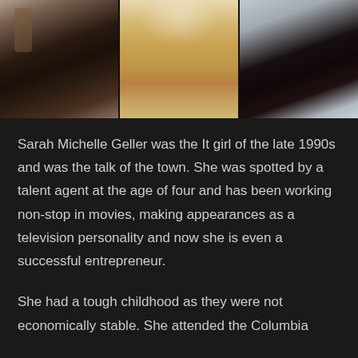[Figure (photo): Three side-by-side photos showing women in stylish outfits, shot from behind or side angles against various backgrounds.]
Sarah Michelle Geller was the It girl of the late 1990s and was the talk of the town. She was spotted by a talent agent at the age of four and has been working non-stop in movies, making appearances as a television personality and now she is even a successful entrepreneur.
She had a tough childhood as they were not economically stable. She attended the Columbia